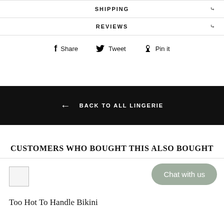SHIPPING
REVIEWS
Share   Tweet   Pin it
← BACK TO ALL LINGERIE
CUSTOMERS WHO BOUGHT THIS ALSO BOUGHT
[Figure (photo): Broken image placeholder for a product photo]
Too Hot To Handle Bikini
Chat with us